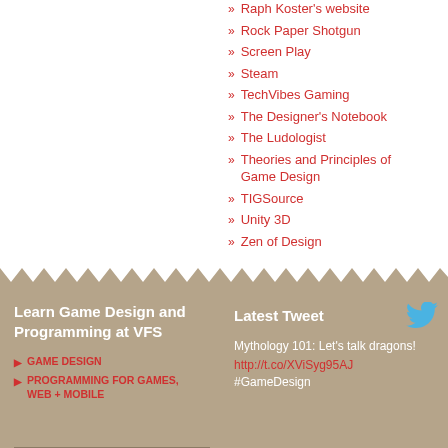Raph Koster's website
Rock Paper Shotgun
Screen Play
Steam
TechVibes Gaming
The Designer's Notebook
The Ludologist
Theories and Principles of Game Design
TIGSource
Unity 3D
Zen of Design
Learn Game Design and Programming at VFS
GAME DESIGN
PROGRAMMING FOR GAMES, WEB + MOBILE
Latest Tweet
Mythology 101: Let's talk dragons! http://t.co/XViSyg95AJ #GameDesign